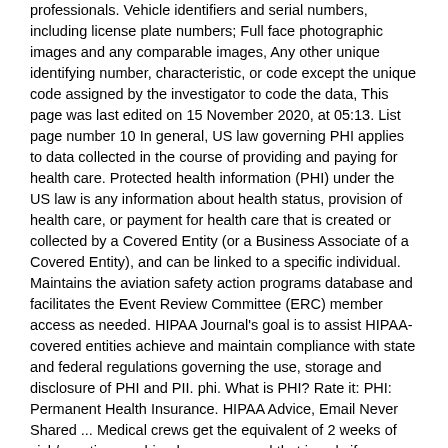professionals. Vehicle identifiers and serial numbers, including license plate numbers; Full face photographic images and any comparable images, Any other unique identifying number, characteristic, or code except the unique code assigned by the investigator to code the data, This page was last edited on 15 November 2020, at 05:13. List page number 10 In general, US law governing PHI applies to data collected in the course of providing and paying for health care. Protected health information (PHI) under the US law is any information about health status, provision of health care, or payment for health care that is created or collected by a Covered Entity (or a Business Associate of a Covered Entity), and can be linked to a specific individual. Maintains the aviation safety action programs database and facilitates the Event Review Committee (ERC) member access as needed. HIPAA Journal's goal is to assist HIPAA-covered entities achieve and maintain compliance with state and federal regulations governing the use, storage and disclosure of PHI and PII. phi. What is PHI? Rate it: PHI: Permanent Health Insurance. HIPAA Advice, Email Never Shared ... Medical crews get the equivalent of 2 weeks of sick/vacation combined per year...and that is only if you are a long term employee-new employees are given far less. We also sometimes speak about ePHI, which is only in relation to electronic PHI. Maintaining HIPAA compliance all identifiable health